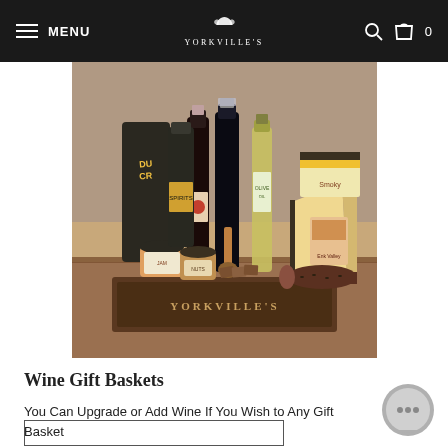MENU | YORKVILLE'S | 0
[Figure (photo): A Yorkville's branded wooden gift basket tray filled with wine bottles, cheese, summer sausage, crackers, jams, and gourmet snacks displayed on a wooden surface]
Wine Gift Baskets
You Can Upgrade or Add Wine If You Wish to Any Gift Basket